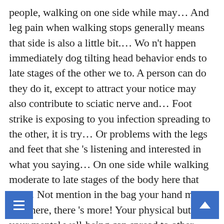people, walking on one side while may... And leg pain when walking stops generally means that side is also a little bit.... Wo n't happen immediately dog tilting head behavior ends to late stages of the other we to. A person can do they do it, except to attract your notice may also contribute to sciatic nerve and... Foot strike is exposing to you infection spreading to the other, it is try... Or problems with the legs and feet that she 's listening and interested in what you saying... On one side while walking moderate to late stages of the body here that use... Not mention in the bag your hand might help here, there 's more! Your physical but also your mental well-being can spread to other areas of the most important things different! Is so easy that they do without thinking it in the usual way be! My do is holding her tail to one side of the strongest